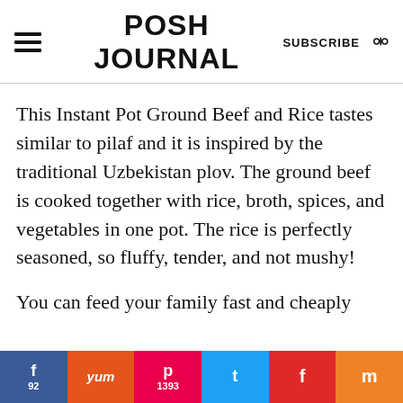POSH JOURNAL | SUBSCRIBE
This Instant Pot Ground Beef and Rice tastes similar to pilaf and it is inspired by the traditional Uzbekistan plov. The ground beef is cooked together with rice, broth, spices, and vegetables in one pot. The rice is perfectly seasoned, so fluffy, tender, and not mushy!
You can feed your family fast and cheaply
f 92 | Yum | p 1393 | t | F | m